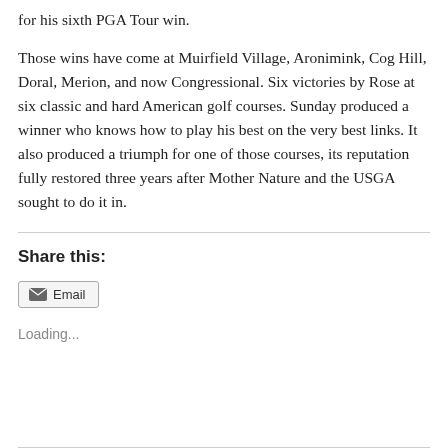for his sixth PGA Tour win.
Those wins have come at Muirfield Village, Aronimink, Cog Hill, Doral, Merion, and now Congressional. Six victories by Rose at six classic and hard American golf courses. Sunday produced a winner who knows how to play his best on the very best links. It also produced a triumph for one of those courses, its reputation fully restored three years after Mother Nature and the USGA sought to do it in.
Share this:
Email
Loading...